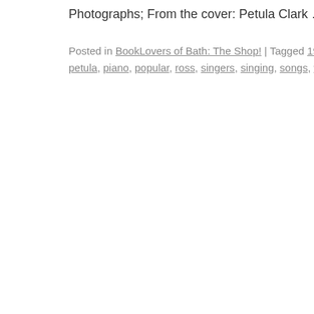Photographs; From the cover: Petula Clark … Continue reading
Posted in BookLovers of Bath: The Shop! | Tagged 1932-, andrea, biographies, petula, piano, popular, ross, singers, singing, songs, with | Leave a comment